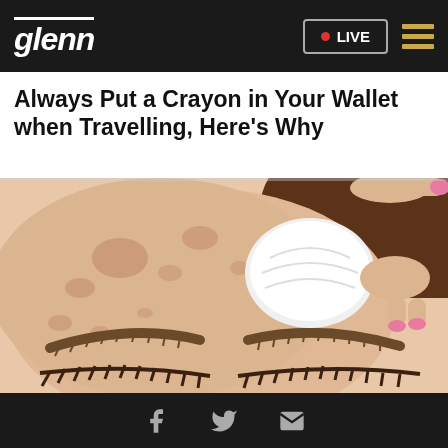glenn  • LIVE  ☰
Always Put a Crayon in Your Wallet when Travelling, Here's Why
[Figure (illustration): Cartoon illustration showing a close-up of a face lying down with skin spots, and hands holding a white cloth/pad, with pink fingernails visible]
Social share icons: Facebook, Twitter, Email